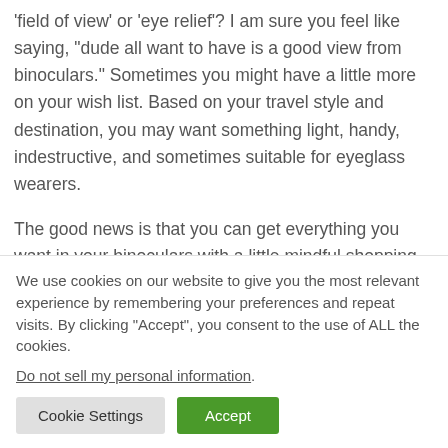'field of view' or 'eye relief'? I am sure you feel like saying, "dude all want to have is a good view from binoculars." Sometimes you might have a little more on your wish list. Based on your travel style and destination, you may want something light, handy, indestructive, and sometimes suitable for eyeglass wearers.
The good news is that you can get everything you want in your binoculars with a little mindful shopping. Here are some tips to help you pick the best nocks.
We use cookies on our website to give you the most relevant experience by remembering your preferences and repeat visits. By clicking “Accept”, you consent to the use of ALL the cookies.
Do not sell my personal information.
Cookie Settings
Accept